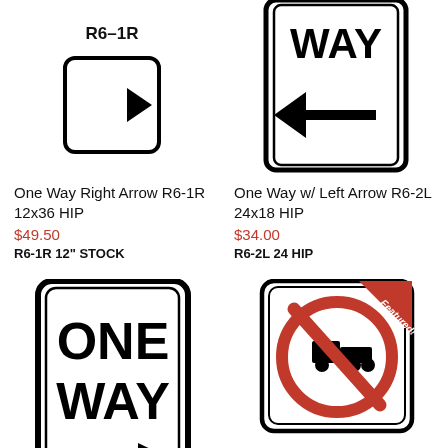[Figure (illustration): One Way Right Arrow road sign R6-1R, vertical rectangle, black arrow pointing right on white background, partially visible at top]
R6-1R
[Figure (illustration): One Way with Left Arrow road sign R6-2L, rectangle, black left arrow on white background with ONE WAY text partially visible at top]
One Way Right Arrow R6-1R 12x36 HIP
$49.50
R6-1R 12" STOCK
One Way w/ Left Arrow R6-2L 24x18 HIP
$34.00
R6-2L 24 HIP
[Figure (illustration): ONE WAY road sign with right arrow, black text on white background, rectangular with rounded corners]
[Figure (illustration): No trucks road sign, red circle with diagonal line over truck silhouette, white square background, Featured! ribbon in top corner]